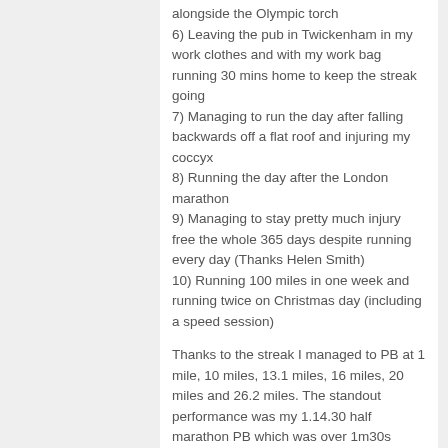alongside the Olympic torch
6) Leaving the pub in Twickenham in my work clothes and with my work bag running 30 mins home to keep the streak going
7) Managing to run the day after falling backwards off a flat roof and injuring my coccyx
8) Running the day after the London marathon
9) Managing to stay pretty much injury free the whole 365 days despite running every day (Thanks Helen Smith)
10) Running 100 miles in one week and running twice on Christmas day (including a speed session)
Thanks to the streak I managed to PB at 1 mile, 10 miles, 13.1 miles, 16 miles, 20 miles and 26.2 miles. The standout performance was my 1.14.30 half marathon PB which was over 1m30s faster than any previous half marathon. Frequency works. Part of the reason I did the challenge was to improve my run efficiency for a full on assault on Kona. I strongly believe the benefits will last for years.